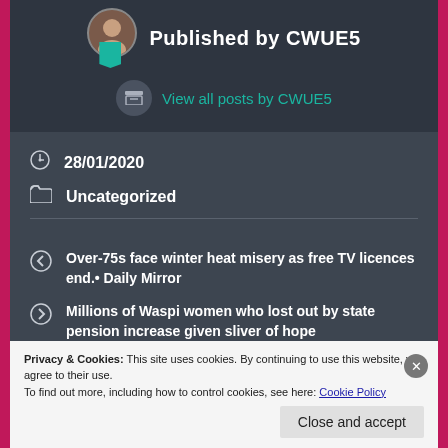Published by CWUE5
View all posts by CWUE5
28/01/2020
Uncategorized
Over-75s face winter heat misery as free TV licences end.• Daily Mirror
Millions of Waspi women who lost out by state pension increase given sliver of hope
Privacy & Cookies: This site uses cookies. By continuing to use this website, you agree to their use.
To find out more, including how to control cookies, see here: Cookie Policy
Close and accept